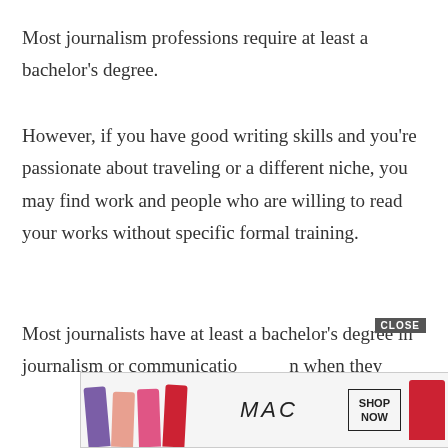Most journalism professions require at least a bachelor's degree.
However, if you have good writing skills and you're passionate about traveling or a different niche, you may find work and people who are willing to read your works without specific formal training.
Most journalists have at least a bachelor's degree in journalism or communication when they
[Figure (other): MAC Cosmetics advertisement banner showing colorful lipsticks (purple, peach, pink, red) with MAC logo and SHOP NOW button]